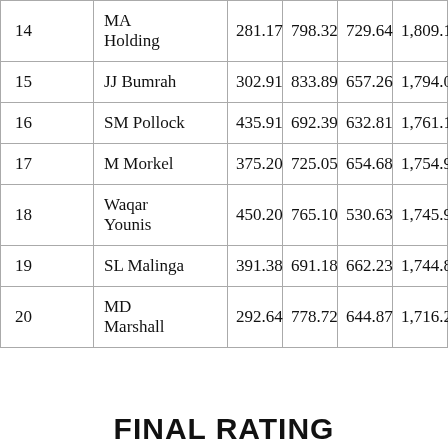| Rank | Name | Col3 | Col4 | Col5 | Col6 |
| --- | --- | --- | --- | --- | --- |
| 14 | MA Holding | 281.17 | 798.32 | 729.64 | 1,809.1 |
| 15 | JJ Bumrah | 302.91 | 833.89 | 657.26 | 1,794.0 |
| 16 | SM Pollock | 435.91 | 692.39 | 632.81 | 1,761.1 |
| 17 | M Morkel | 375.20 | 725.05 | 654.68 | 1,754.9 |
| 18 | Waqar Younis | 450.20 | 765.10 | 530.63 | 1,745.9 |
| 19 | SL Malinga | 391.38 | 691.18 | 662.23 | 1,744.8 |
| 20 | MD Marshall | 292.64 | 778.72 | 644.87 | 1,716.2 |
FINAL RATING